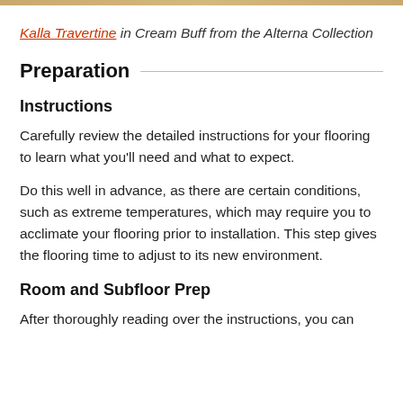Kalla Travertine in Cream Buff from the Alterna Collection
Preparation
Instructions
Carefully review the detailed instructions for your flooring to learn what you'll need and what to expect.
Do this well in advance, as there are certain conditions, such as extreme temperatures, which may require you to acclimate your flooring prior to installation. This step gives the flooring time to adjust to its new environment.
Room and Subfloor Prep
After thoroughly reading over the instructions, you can